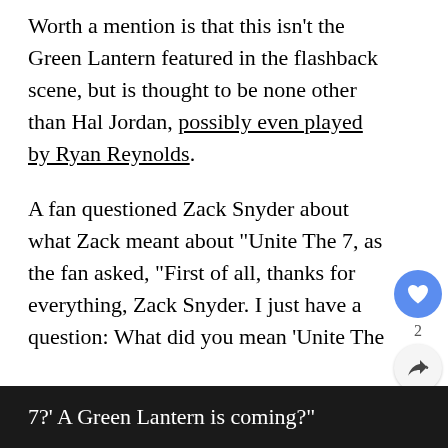Worth a mention is that this isn't the Green Lantern featured in the flashback scene, but is thought to be none other than Hal Jordan, possibly even played by Ryan Reynolds.
A fan questioned Zack Snyder about what Zack meant about “Unite The 7, as the fan asked, “First of all, thanks for everything, Zack Snyder. I just have a question: What did you mean ‘Unite The 7?’ A Green Lantern is coming?"